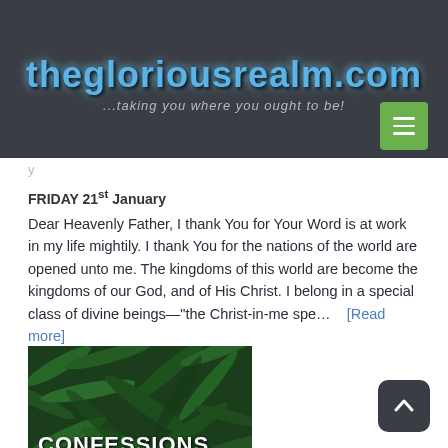thegloriousrealm.com
...taking you where you ought to be!
FRIDAY 21st January
Dear Heavenly Father, I thank You for Your Word is at work in my life mightily. I thank You for the nations of the world are opened unto me. The kingdoms of this world are become the kingdoms of our God, and of His Christ. I belong in a special class of divine beings—"the Christ-in-me spe… [Read more]
[Figure (photo): Green fern leaves background with white bold text reading CONFESSIONS]